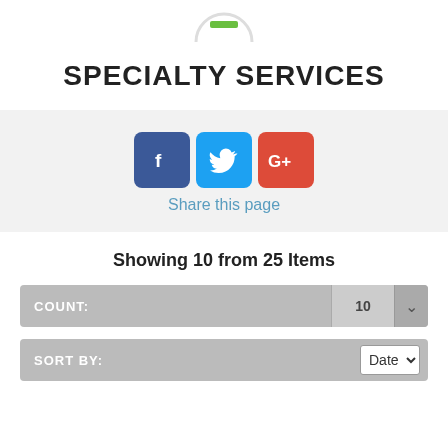[Figure (illustration): Partial circle icon with a green bar inside, at the top of the page]
SPECIALTY SERVICES
[Figure (infographic): Social share buttons: Facebook (blue), Twitter (light blue), Google+ (red), with 'Share this page' text below]
Showing 10 from 25 Items
COUNT: 10
SORT BY: Date